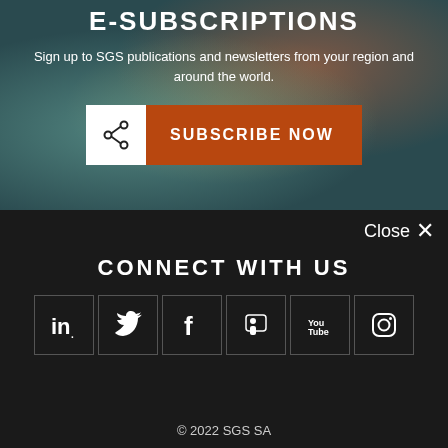E-SUBSCRIPTIONS
Sign up to SGS publications and newsletters from your region and around the world.
[Figure (screenshot): Orange 'SUBSCRIBE NOW' button with a white share icon box on the left side]
Close ✕
CONNECT WITH US
[Figure (infographic): Row of six social media icon boxes: LinkedIn, Twitter, Facebook, SlideShare/Slideshare, YouTube, Instagram]
© 2022 SGS SA